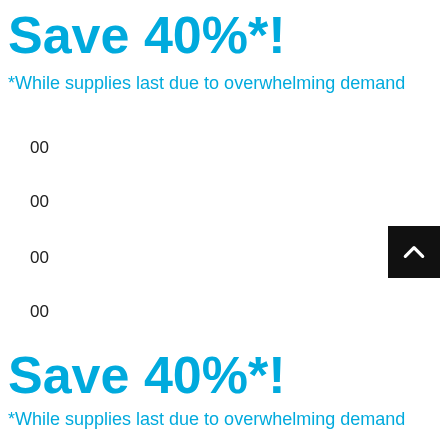Save 40%*!
*While supplies last due to overwhelming demand
00
00
00
00
Save 40%*!
*While supplies last due to overwhelming demand